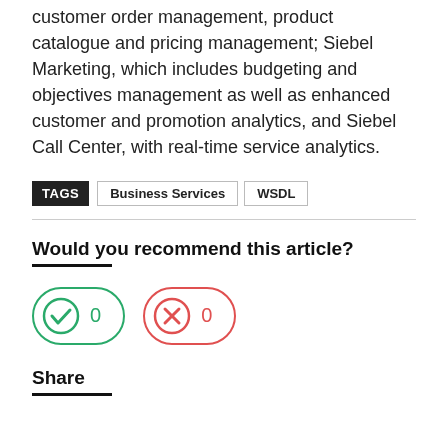customer order management, product catalogue and pricing management; Siebel Marketing, which includes budgeting and objectives management as well as enhanced customer and promotion analytics, and Siebel Call Center, with real-time service analytics.
TAGS  Business Services  WSDL
Would you recommend this article?
[Figure (other): Two voting buttons: a green checkmark button with count 0, and a red X button with count 0]
Share